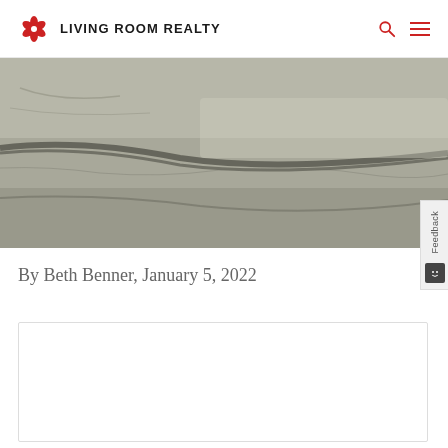LIVING ROOM REALTY
[Figure (photo): Close-up photo of a concrete surface showing cracks and texture, in gray tones]
By Beth Benner, January 5, 2022